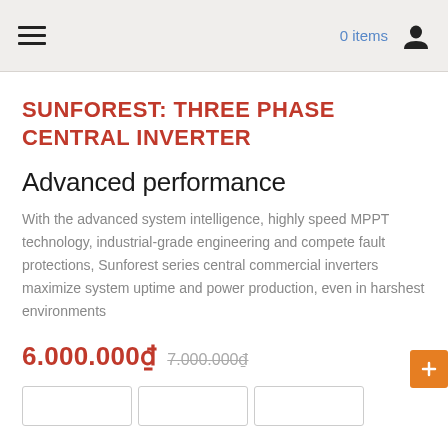0 items
SUNFOREST: THREE PHASE CENTRAL INVERTER
Advanced performance
With the advanced system intelligence, highly speed MPPT technology, industrial-grade engineering and compete fault protections, Sunforest series central commercial inverters maximize system uptime and power production, even in harshest environments
6.000.000₫  7.000.000₫